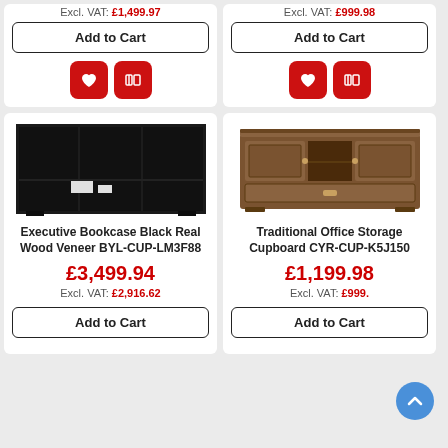Excl. VAT: £1,499.97
Add to Cart
[Figure (other): Heart icon button and compare icon button (red square buttons)]
Excl. VAT: £999.98
Add to Cart
[Figure (other): Heart icon button and compare icon button (red square buttons)]
[Figure (photo): Executive Bookcase Black Real Wood Veneer product image - dark black bookcase unit]
Executive Bookcase Black Real Wood Veneer BYL-CUP-LM3F88
£3,499.94
Excl. VAT: £2,916.62
Add to Cart
[Figure (photo): Traditional Office Storage Cupboard product image - brown wooden cabinet]
Traditional Office Storage Cupboard CYR-CUP-K5J150
£1,199.98
Excl. VAT: £999.
Add to Cart